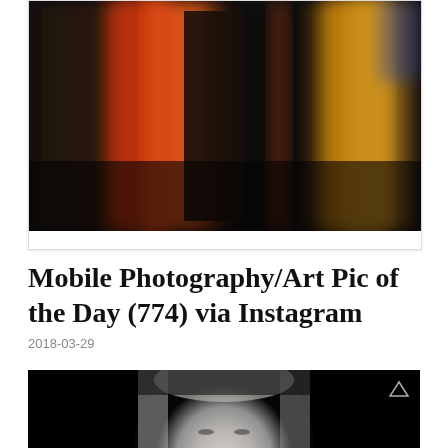[Figure (photo): Blurred motion photo of figures in front of colorful curtains (red, orange, yellow) in dark setting]
Mobile Photography/Art Pic of the Day (774) via Instagram
2018-03-29
[Figure (photo): Black and white portrait photo of a woman with blonde hair against a black background, looking slightly downward]